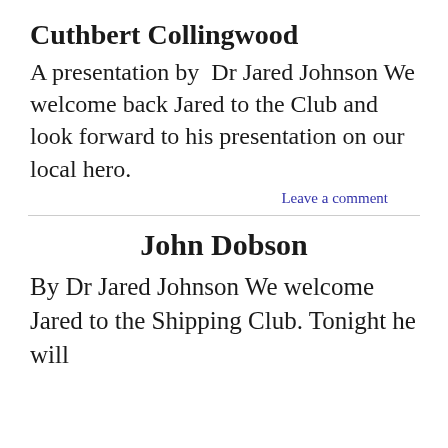Cuthbert Collingwood
A presentation by Dr Jared Johnson We welcome back Jared to the Club and look forward to his presentation on our local hero.
Leave a comment
John Dobson
By Dr Jared Johnson We welcome Jared to the Shipping Club. Tonight he will